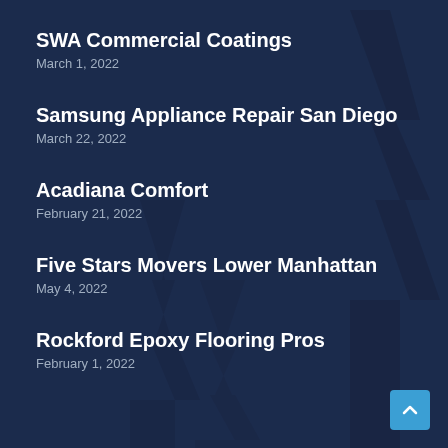SWA Commercial Coatings
March 1, 2022
Samsung Appliance Repair San Diego
March 22, 2022
Acadiana Comfort
February 21, 2022
Five Stars Movers Lower Manhattan
May 4, 2022
Rockford Epoxy Flooring Pros
February 1, 2022